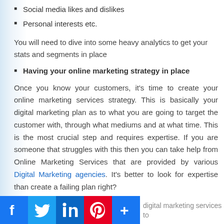Social media likes and dislikes
Personal interests etc.
You will need to dive into some heavy analytics to get your stats and segments in place
Having your online marketing strategy in place
Once you know your customers, it's time to create your online marketing services strategy. This is basically your digital marketing plan as to what you are going to target the customer with, through what mediums and at what time. This is the most crucial step and requires expertise. If you are someone that struggles with this then you can take help from Online Marketing Services that are provided by various Digital Marketing agencies. It's better to look for expertise than create a failing plan right?
digital marketing services to